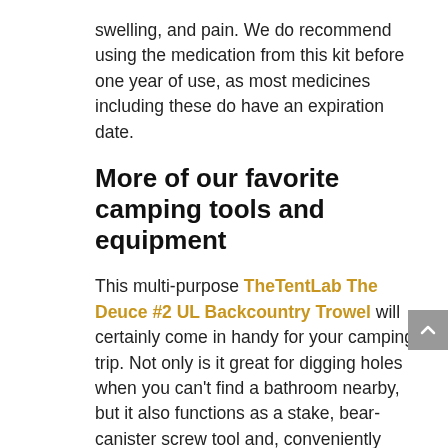swelling, and pain. We do recommend using the medication from this kit before one year of use, as most medicines including these do have an expiration date.
More of our favorite camping tools and equipment
This multi-purpose TheTentLab The Deuce #2 UL Backcountry Trowel will certainly come in handy for your camping trip. Not only is it great for digging holes when you can't find a bathroom nearby, but it also functions as a stake, bear-canister screw tool and, conveniently enough, a bottle opener. It's also made from lightweight aluminum and is recyclable.
One of the worst parts about camping are, of course, the bugs. With the Thermacell MR300 ...